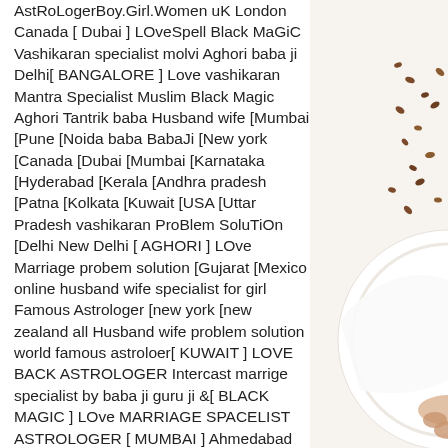AstRoLogerBoy.Girl.Women uK London Canada [ Dubai ] LOveSpell Black MaGiC Vashikaran specialist molvi Aghori baba ji Delhi[ BANGALORE ] Love vashikaran Mantra Specialist Muslim Black Magic Aghori Tantrik baba Husband wife [Mumbai [Pune [Noida baba BabaJi [New york [Canada [Dubai [Mumbai [Karnataka [Hyderabad [Kerala [Andhra pradesh [Patna [Kolkata [Kuwait [USA [Uttar Pradesh vashikaran ProBlem SoluTiOn [Delhi New Delhi [ AGHORI ] LOve Marriage probem solution [Gujarat [Mexico online husband wife specialist for girl Famous Astrologer [new york [new zealand all Husband wife problem solution world famous astroloer[ KUWAIT ] LOVE BACK ASTROLOGER Intercast marrige specialist by baba ji guru ji &[ BLACK MAGIC ] LOve MARRIAGE SPACELIST ASTROLOGER [ MUMBAI ] Ahmedabad Gujarat Uttar Pradesh Patna Karnataka Hyderabad Kerala Andhra
[Figure (photo): Partial view of a white plate with food items and scattered seeds/nuts on a light background, visible on the right side of the page]